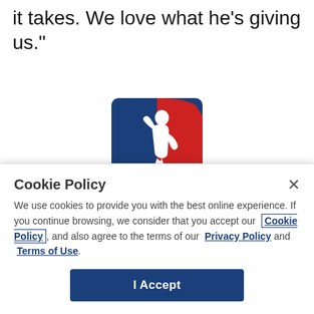it takes. We love what he's giving us."
[Figure (logo): NBA logo — blue and red rectangle with white silhouette of a basketball player dribbling]
Cookie Policy
We use cookies to provide you with the best online experience. If you continue browsing, we consider that you accept our Cookie Policy, and also agree to the terms of our Privacy Policy and Terms of Use.
I Accept